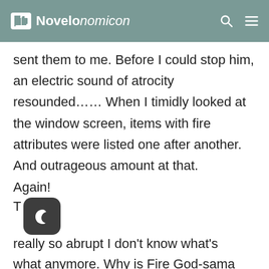Novelonomicon
sent them to me. Before I could stop him, an electric sound of atrocity resounded…… When I timidly looked at the window screen, items with fire attributes were listed one after another. And outrageous amount at that.
Again!
T[dark mode icon]really so abrupt I don't know what's what anymore. Why is Fire God-sama